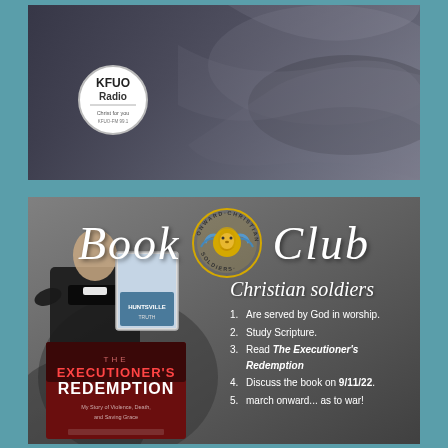[Figure (photo): Top banner photo with abstract dark blurred shapes, KFUO Radio circular logo overlay on left side]
[Figure (illustration): Book Club promotional card with dark gray background. Shows 'Book Club' in script font with Onward Christian Soldiers badge logo between the words. Left side shows a man in black clergy clothing and a book cover for 'The Executioner's Redemption: My Story of Violence, Death, and Saving Grace'. Right side lists 'Christian soldiers' points numbered 1-5.]
Book Club
Christian soldiers
Are served by God in worship.
Study Scripture.
Read The Executioner's Redemption
Discuss the book on 9/11/22.
march onward... as to war!